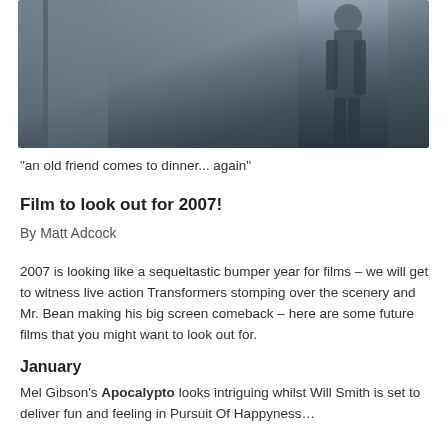[Figure (photo): A dark atmospheric scene with a figure standing in misty/foggy environment, dark tones of grey and blue]
"an old friend comes to dinner... again"
Film to look out for 2007!
By Matt Adcock
2007 is looking like a sequeltastic bumper year for films – we will get to witness live action Transformers stomping over the scenery and Mr. Bean making his big screen comeback – here are some future films that you might want to look out for.
January
Mel Gibson's Apocalypto looks intriguing whilst Will Smith is set to deliver fun and feeling in Pursuit Of Happyness…
February